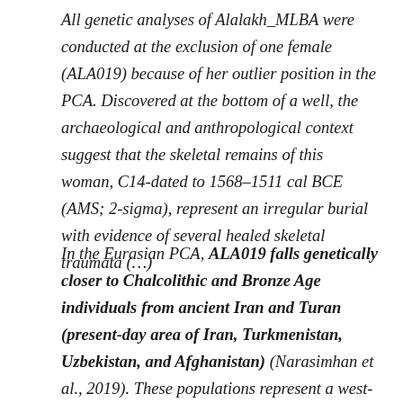All genetic analyses of Alalakh_MLBA were conducted at the exclusion of one female (ALA019) because of her outlier position in the PCA. Discovered at the bottom of a well, the archaeological and anthropological context suggest that the skeletal remains of this woman, C14-dated to 1568–1511 cal BCE (AMS; 2-sigma), represent an irregular burial with evidence of several healed skeletal traumata (…)
In the Eurasian PCA, ALA019 falls genetically closer to Chalcolithic and Bronze Age individuals from ancient Iran and Turan (present-day area of Iran, Turkmenistan, Uzbekistan, and Afghanistan) (Narasimhan et al., 2019). These populations represent a west-east genetic cline with varying proportions of ancestries related to Barcın_N, Iran_N